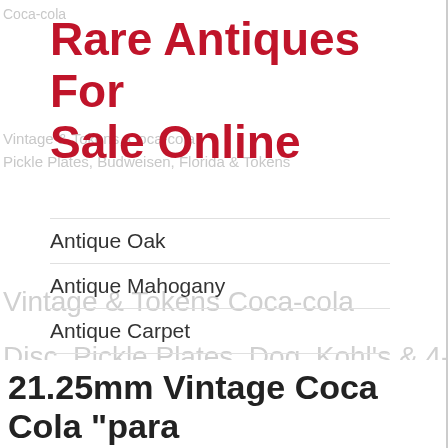Rare Antiques For Sale Online
Antique Oak
Antique Mahogany
Antique Carpet
Antique Painting
Antique Glass
Antique Plate
Kohl's & 4-leaf Clover Tokens, Pickle Plates, Budweis, Florida
21.25mm Vintage Coca Cola "para